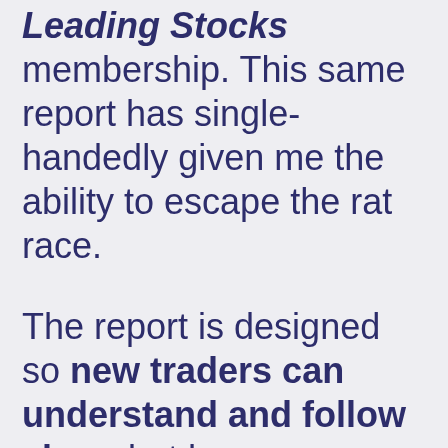Leading Stocks membership. This same report has single-handedly given me the ability to escape the rat race.
The report is designed so new traders can understand and follow along but have strategies and information that any seasoned trader can